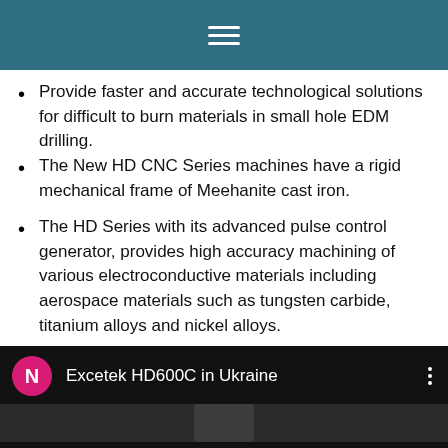[Figure (screenshot): Teal/dark blue navigation header bar with white hamburger menu icon]
Provide faster and accurate technological solutions for difficult to burn materials in small hole EDM drilling.
The New HD CNC Series machines have a rigid mechanical frame of Meehanite cast iron.
The HD Series with its advanced pulse control generator, provides high accuracy machining of various electroconductive materials including aerospace materials such as tungsten carbide, titanium alloys and nickel alloys.
[Figure (screenshot): Video player header showing 'Excetek HD600C in Ukraine' with a pink N avatar circle and three-dot menu, dark background with partial thumbnail]